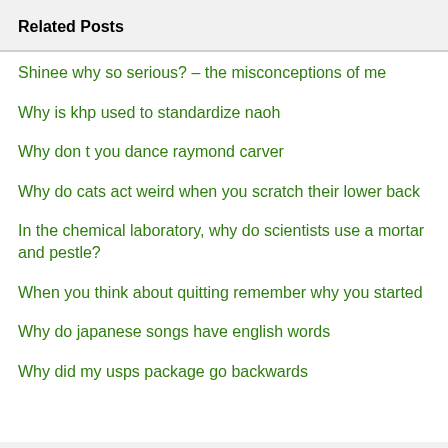Related Posts
Shinee why so serious? – the misconceptions of me
Why is khp used to standardize naoh
Why don t you dance raymond carver
Why do cats act weird when you scratch their lower back
In the chemical laboratory, why do scientists use a mortar and pestle?
When you think about quitting remember why you started
Why do japanese songs have english words
Why did my usps package go backwards